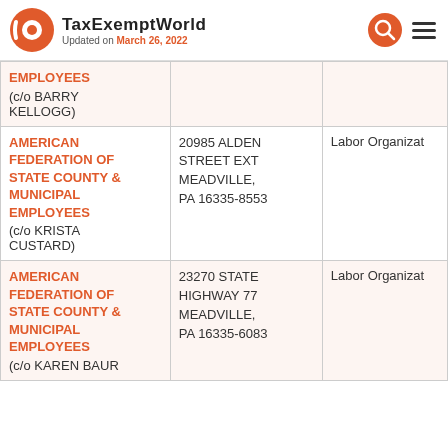TaxExemptWorld — Updated on March 26, 2022
| Organization | Address | Type |
| --- | --- | --- |
| AMERICAN FEDERATION OF STATE COUNTY & MUNICIPAL EMPLOYEES (c/o BARRY KELLOGG) |  |  |
| AMERICAN FEDERATION OF STATE COUNTY & MUNICIPAL EMPLOYEES (c/o KRISTA CUSTARD) | 20985 ALDEN STREET EXT MEADVILLE, PA 16335-8553 | Labor Organizat |
| AMERICAN FEDERATION OF STATE COUNTY & MUNICIPAL EMPLOYEES (c/o KAREN BAUR | 23270 STATE HIGHWAY 77 MEADVILLE, PA 16335-6083 | Labor Organizat |